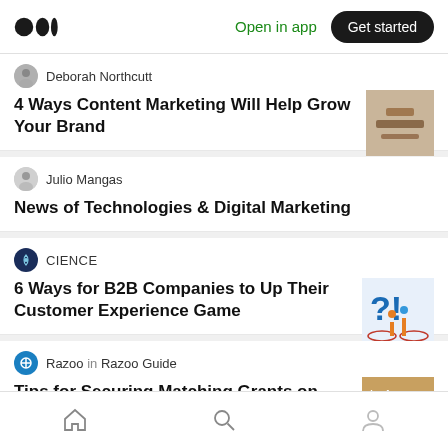Medium logo | Open in app | Get started
Deborah Northcutt
4 Ways Content Marketing Will Help Grow Your Brand
Julio Mangas
News of Technologies & Digital Marketing
CIENCE
6 Ways for B2B Companies to Up Their Customer Experience Game
Razoo in Razoo Guide
Tips for Securing Matching Grants on
Home | Search | Profile